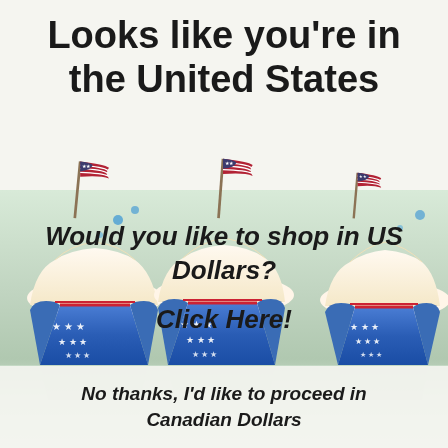Looks like you're in the United States
[Figure (illustration): Three American flags on sticks waving, displayed in a row]
[Figure (photo): Three cupcakes with vanilla frosting in patriotic blue star-patterned wrappers, on a reflective surface]
Would you like to shop in US Dollars?
Click Here!
No thanks, I'd like to proceed in Canadian Dollars